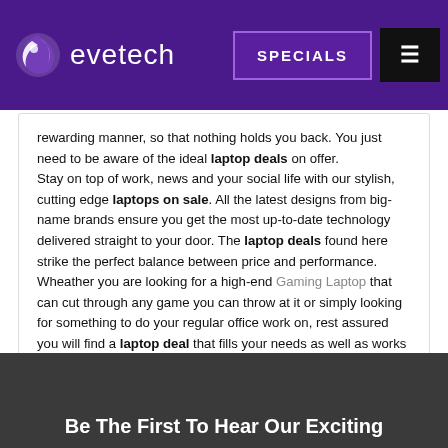Evetech — SPECIALS (navigation bar)
rewarding manner, so that nothing holds you back. You just need to be aware of the ideal laptop deals on offer. Stay on top of work, news and your social life with our stylish, cutting edge laptops on sale. All the latest designs from big-name brands ensure you get the most up-to-date technology delivered straight to your door. The laptop deals found here strike the perfect balance between price and performance. Wheather you are looking for a high-end Gaming Laptop that can cut through any game you can throw at it or simply looking for something to do your regular office work on, rest assured you will find a laptop deal that fills your needs as well as works within your budget. Remember to keep an eye on the Laptop Specials page for new deals that are available on a regular basis.
Be The First To Hear Our Exciting